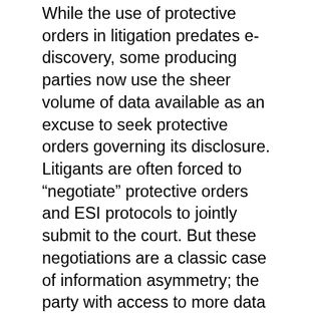While the use of protective orders in litigation predates e-discovery, some producing parties now use the sheer volume of data available as an excuse to seek protective orders governing its disclosure. Litigants are often forced to “negotiate” protective orders and ESI protocols to jointly submit to the court. But these negotiations are a classic case of information asymmetry; the party with access to more data has a clearer idea of how to craft these agreements in its favor. Exploiting this leverage can prevent the unwanted disclosure of information that otherwise would become part of the public record.
In legal systems that value transparency, as ours tries to, court filings are the archetypal example of something falling within the public record. Some parties have come to expect that with...